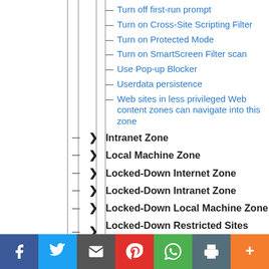Turn off first-run prompt
Turn on Cross-Site Scripting Filter
Turn on Protected Mode
Turn on SmartScreen Filter scan
Use Pop-up Blocker
Userdata persistence
Web sites in less privileged Web content zones can navigate into this zone
Intranet Zone
Local Machine Zone
Locked-Down Internet Zone
Locked-Down Intranet Zone
Locked-Down Local Machine Zone
Locked-Down Restricted Sites Zone
Locked-Down Trusted Sites Zone
Restricted Sites Zone
Trusted Sites Zone